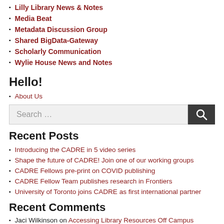Research Now
Lilly Library News & Notes
Media Beat
Metadata Discussion Group
Shared BigData-Gateway
Scholarly Communication
Wylie House News and Notes
Hello!
About Us
[Figure (other): Search input box with search button]
Recent Posts
Introducing the CADRE in 5 video series
Shape the future of CADRE! Join one of our working groups
CADRE Fellows pre-print on COVID publishing
CADRE Fellow Team publishes research in Frontiers
University of Toronto joins CADRE as first international partner
Recent Comments
Jaci Wilkinson on Accessing Library Resources Off Campus